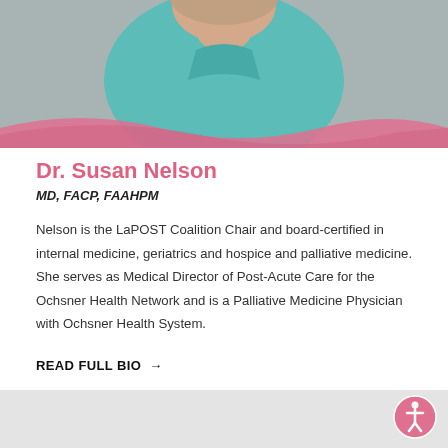[Figure (photo): Headshot photo of Dr. Susan Nelson, a woman wearing a teal/turquoise top, with a pink decorative wave at the bottom of the image]
Dr. Susan Nelson
MD, FACP, FAAHPM
Nelson is the LaPOST Coalition Chair and board-certified in internal medicine, geriatrics and hospice and palliative medicine. She serves as Medical Director of Post-Acute Care for the Ochsner Health Network and is a Palliative Medicine Physician with Ochsner Health System.
READ FULL BIO →